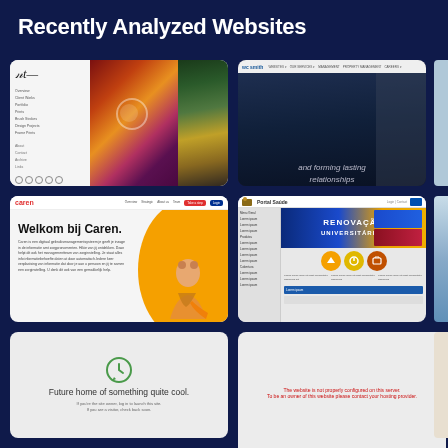Recently Analyzed Websites
[Figure (screenshot): Artist portfolio website thumbnail with signature, navigation menu, colorful abstract artwork panels]
[Figure (screenshot): WC Smith website thumbnail with dark interior corridor photo and text 'and forming lasting relationships']
[Figure (screenshot): Partially visible third thumbnail with light blue background]
[Figure (screenshot): Caren website thumbnail with orange design element and text 'Welkom bij Caren.']
[Figure (screenshot): Portal Saude website thumbnail with blue/orange banner, RENOVACAO UNIVERSITARIOS text, sidebar navigation, and icon buttons]
[Figure (screenshot): Partially visible thumbnail with blue sky/clouds]
[Figure (screenshot): Website placeholder page with green clock icon and text 'Future home of something quite cool.']
[Figure (screenshot): Error page thumbnail with red text about website not properly configured on this server]
[Figure (screenshot): Partially visible thumbnail with beige/cream background]